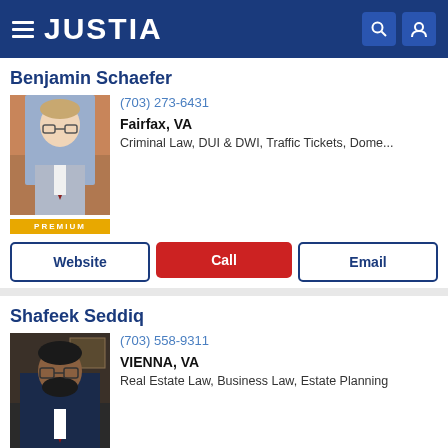JUSTIA
Benjamin Schaefer
(703) 273-6431
Fairfax, VA
Criminal Law, DUI & DWI, Traffic Tickets, Dome...
Shafeek Seddiq
(703) 558-9311
VIENNA, VA
Real Estate Law, Business Law, Estate Planning